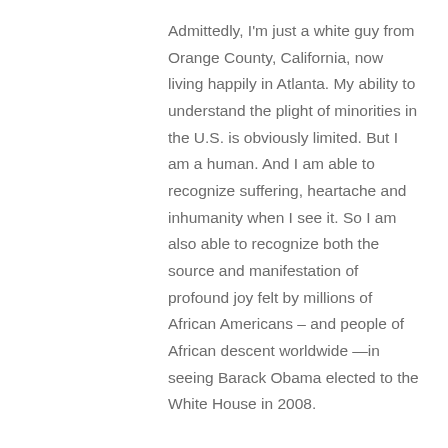Admittedly, I'm just a white guy from Orange County, California, now living happily in Atlanta. My ability to understand the plight of minorities in the U.S. is obviously limited. But I am a human. And I am able to recognize suffering, heartache and inhumanity when I see it. So I am also able to recognize both the source and manifestation of profound joy felt by millions of African Americans – and people of African descent worldwide —in seeing Barack Obama elected to the White House in 2008.